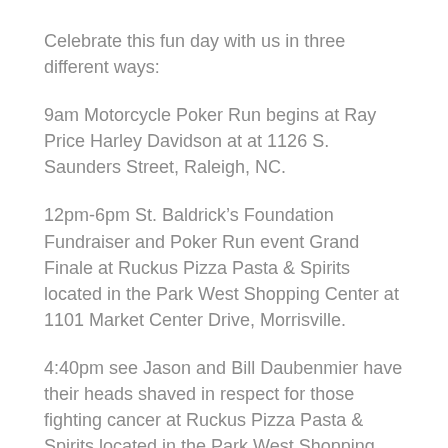Celebrate this fun day with us in three different ways:
9am Motorcycle Poker Run begins at Ray Price Harley Davidson at at 1126 S. Saunders Street, Raleigh, NC.
12pm-6pm St. Baldrick’s Foundation Fundraiser and Poker Run event Grand Finale at Ruckus Pizza Pasta & Spirits located in the Park West Shopping Center at 1101 Market Center Drive, Morrisville.
4:40pm see Jason and Bill Daubenmier have their heads shaved in respect for those fighting cancer at Ruckus Pizza Pasta & Spirits located in the Park West Shopping Center at 1101 Market Center Drive, Morrisville.